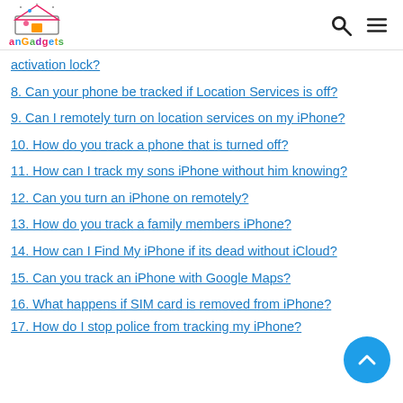anGadgets
activation lock?
8. Can your phone be tracked if Location Services is off?
9. Can I remotely turn on location services on my iPhone?
10. How do you track a phone that is turned off?
11. How can I track my sons iPhone without him knowing?
12. Can you turn an iPhone on remotely?
13. How do you track a family members iPhone?
14. How can I Find My iPhone if its dead without iCloud?
15. Can you track an iPhone with Google Maps?
16. What happens if SIM card is removed from iPhone?
17. How do I stop police from tracking my iPhone?